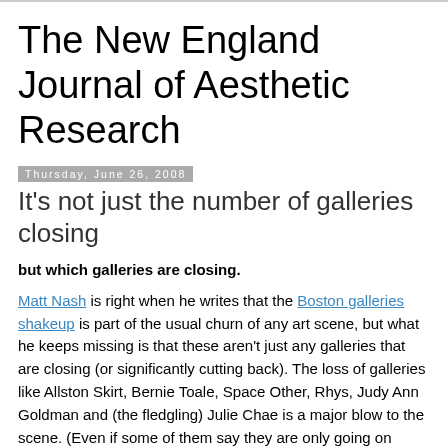The New England Journal of Aesthetic Research
Thursday, June 26, 2008
It’s not just the number of galleries closing
but which galleries are closing.
Matt Nash is right when he writes that the Boston galleries shakeup is part of the usual churn of any art scene, but what he keeps missing is that these aren’t just any galleries that are closing (or significantly cutting back). The loss of galleries like Allston Skirt, Bernie Toale, Space Other, Rhys, Judy Ann Goldman and (the fledgling) Julie Chae is a major blow to the scene. (Even if some of them say they are only going on hiatus.)